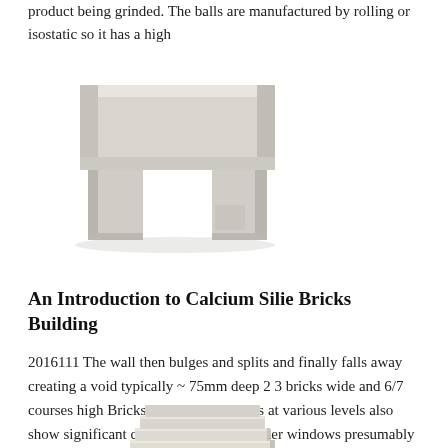product being grinded. The balls are manufactured by rolling or isostatic so it has a high
[Figure (photo): A white calcium silicate brick or block shaped like a pedestal/table form with two rectangular notches cut from the bottom, photographed against a white background.]
An Introduction to Calcium Silie Bricks Building
2016111 The wall then bulges and splits and finally falls away creating a void typically ~ 75mm deep 2 3 bricks wide and 6/7 courses high Bricks on other elevations at various levels also show significant deterioration either under windows presumably due to water ingress or at low levels presumably due to rising damp although the area
[Figure (photo): Partial view of stacked white calcium silicate bricks shown from below, visible at the bottom edge of the page.]